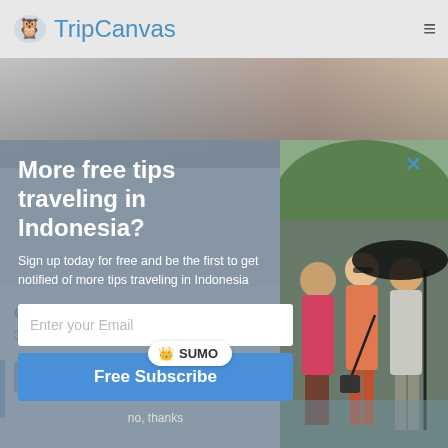TripCanvas
[Figure (screenshot): TripCanvas website screenshot showing a popup modal with email subscription form over a travel photo of three women, with opening hours text visible at the bottom]
More free tips traveling in Indonesia?
Sign up today for free and be the first to get notified of more tips traveling in Indonesia
Enter your Email
Free Subscribe
no, thanks
Opening Hours: Mon – Sun, classes start from 10am to 3pm